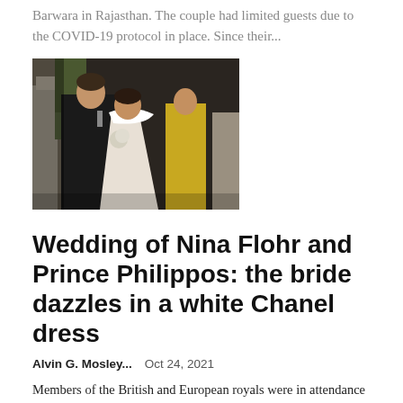Barwara in Rajasthan. The couple had limited guests due to the COVID-19 protocol in place. Since their...
[Figure (photo): Wedding photo of a couple kissing, bride in white dress with wrap, groom in dark suit, woman in yellow dress in background, outdoor stone setting]
Wedding of Nina Flohr and Prince Philippos: the bride dazzles in a white Chanel dress
Alvin G. Mosley...   Oct 24, 2021
Members of the British and European royals were in attendance as the happy couple married in the Metropolitan Cathedral in the Greek capital. Among the members of the British royal family were